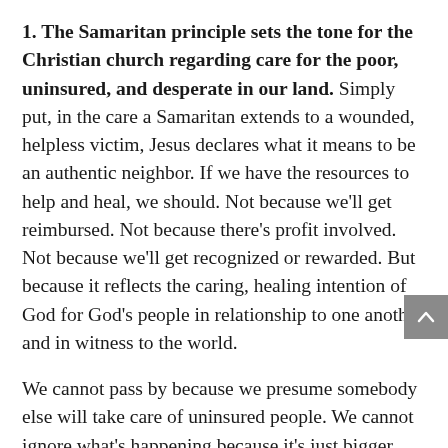1. The Samaritan principle sets the tone for the Christian church regarding care for the poor, uninsured, and desperate in our land. Simply put, in the care a Samaritan extends to a wounded, helpless victim, Jesus declares what it means to be an authentic neighbor. If we have the resources to help and heal, we should. Not because we'll get reimbursed. Not because there's profit involved. Not because we'll get recognized or rewarded. But because it reflects the caring, healing intention of God for God's people in relationship to one another and in witness to the world.
We cannot pass by because we presume somebody else will take care of uninsured people. We cannot ignore what's happening because it's just bigger than us or beyond us. Jesus calls us to see, respond, help, comfort, and restore… as if those left out and